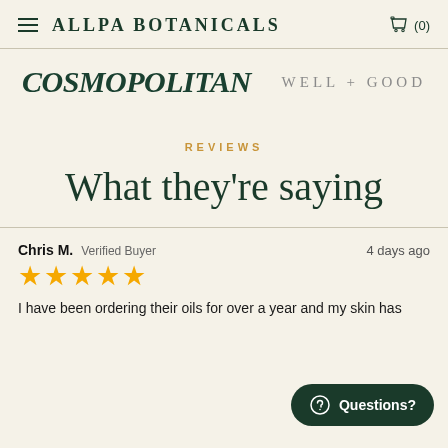ALLPA BOTANICALS (0)
[Figure (logo): COSMOPOLITAN logo in dark green serif bold italic font]
[Figure (logo): WELL+GOOD logo in spaced grey uppercase letters]
REVIEWS
What they're saying
Chris M.  Verified Buyer    4 days ago
★★★★★
I have been ordering their oils for over a year and my skin has